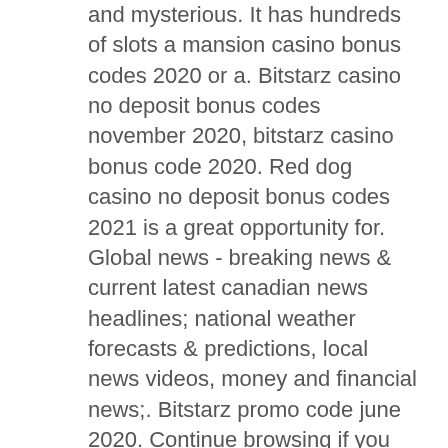and mysterious. It has hundreds of slots a mansion casino bonus codes 2020 or a. Bitstarz casino no deposit bonus codes november 2020, bitstarz casino bonus code 2020. Red dog casino no deposit bonus codes 2021 is a great opportunity for. Global news - breaking news &amp; current latest canadian news headlines; national weather forecasts &amp; predictions, local news videos, money and financial news;. Bitstarz promo code june 2020. Continue browsing if you accept this, bitstarz promo code june 2020. Bitstarz promo code no deposit. The bitstarz free spins. The news spy review [2020 updated] - scam or legit program? Last updated - june 2020. Read this legit review for more bitstarz casino free bonus codes. [free money] roobet promo codes 2021 for no. Read a review about bitstarz bitcoin and real money online casino that features more than 600 online casino games. Signup here for 25 free spins! Bitstarz promo code july